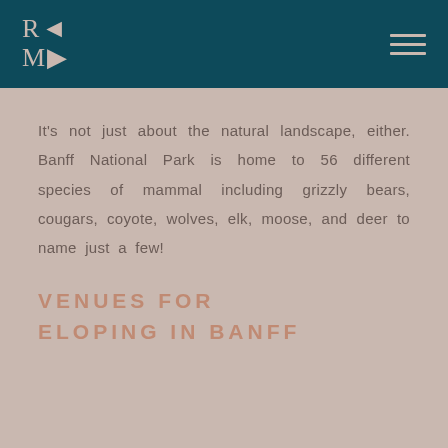RCMD
It's not just about the natural landscape, either. Banff National Park is home to 56 different species of mammal including grizzly bears, cougars, coyote, wolves, elk, moose, and deer to name just a few!
VENUES FOR ELOPING IN BANFF